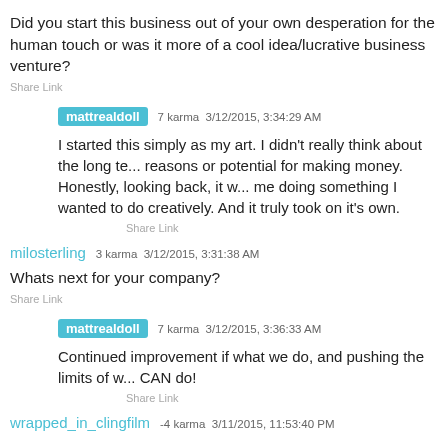Did you start this business out of your own desperation for the human touch or was it more of a cool idea/lucrative business venture?
Share Link
mattrealdoll 7 karma 3/12/2015, 3:34:29 AM
I started this simply as my art. I didn't really think about the long te... reasons or potential for making money. Honestly, looking back, it w... me doing something I wanted to do creatively. And it truly took on it's own.
Share Link
milosterling 3 karma 3/12/2015, 3:31:38 AM
Whats next for your company?
Share Link
mattrealdoll 7 karma 3/12/2015, 3:36:33 AM
Continued improvement if what we do, and pushing the limits of w... CAN do!
Share Link
wrapped_in_clingfilm -4 karma 3/11/2015, 11:53:40 PM